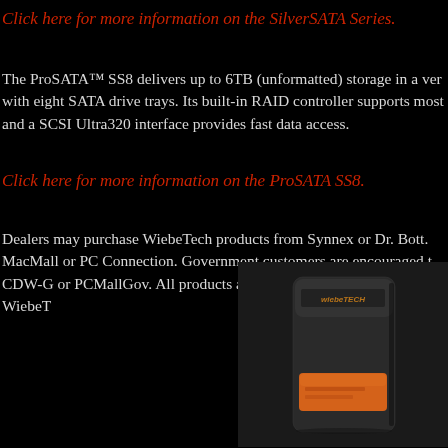Click here for more information on the SilverSATA Series.
The ProSATA™ SS8 delivers up to 6TB (unformatted) storage in a ver with eight SATA drive trays. Its built-in RAID controller supports most and a SCSI Ultra320 interface provides fast data access.
Click here for more information on the ProSATA SS8.
Dealers may purchase WiebeTech products from Synnex or Dr. Bott. MacMall or PC Connection. Government customers are encouraged t CDW-G or PCMallGov. All products are available directly from WiebeT
[Figure (photo): WiebeTech branded black padded case/pouch with orange label window, shown on dark background.]